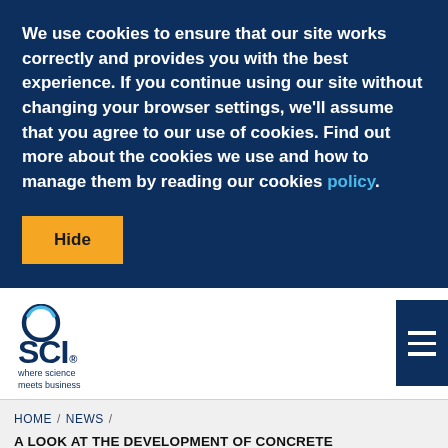We use cookies to ensure that our site works correctly and provides you with the best experience. If you continue using our site without changing your browser settings, we'll assume that you agree to our use of cookies. Find out more about the cookies we use and how to manage them by reading our cookies policy.
Hide
[Figure (logo): SCI logo with circular ring icon, bold SCI. wordmark, and tagline 'where science meets business' in dark navy blue]
[Figure (other): Hamburger menu icon, three horizontal white lines on dark navy blue background]
HOME / NEWS / A LOOK AT THE DEVELOPMENT OF CONCRETE INTERLOCKING PAVING 2011 PAST CONFERENCE PAPERS